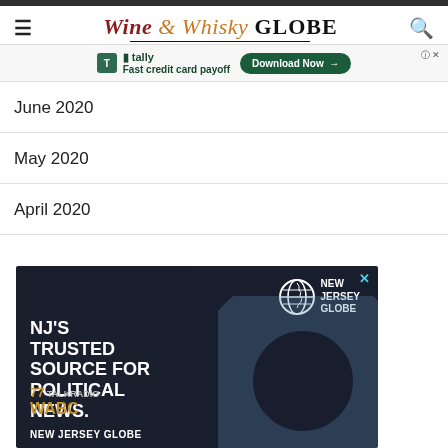Wine & Whisky GLOBE
[Figure (screenshot): Tally advertisement banner: Fast credit card payoff. Download Now button.]
June 2020
May 2020
April 2020
[Figure (screenshot): New Jersey Globe advertisement: NJ's Trusted Source for Political News. 77 WABC Talk Radio. New Jersey Globe.]